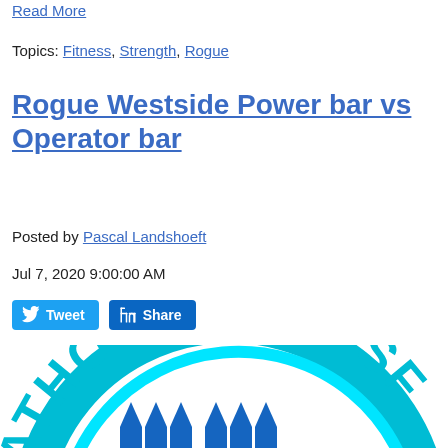Read More
Topics: Fitness, Strength, Rogue
Rogue Westside Power bar vs Operator bar
Posted by Pascal Landshoeft
Jul 7, 2020 9:00:00 AM
[Figure (logo): Marathon Crossfit logo — partial circular arc text reading ARATHON - CROSS with teal/cyan color scheme, and partial block letter M below]
[Figure (other): Tweet and Share social media buttons]